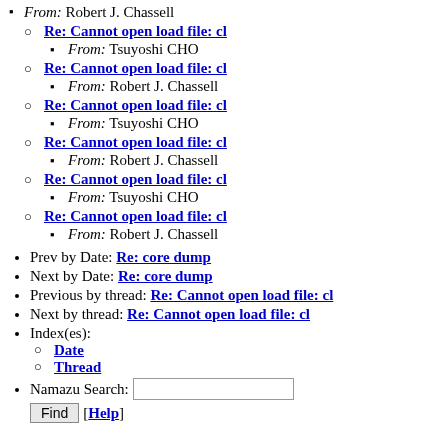From: Robert J. Chassell
Re: Cannot open load file: cl
From: Tsuyoshi CHO
Re: Cannot open load file: cl
From: Robert J. Chassell
Re: Cannot open load file: cl
From: Tsuyoshi CHO
Re: Cannot open load file: cl
From: Robert J. Chassell
Re: Cannot open load file: cl
From: Tsuyoshi CHO
Re: Cannot open load file: cl
From: Robert J. Chassell
Prev by Date: Re: core dump
Next by Date: Re: core dump
Previous by thread: Re: Cannot open load file: cl
Next by thread: Re: Cannot open load file: cl
Index(es):
Date
Thread
Namazu Search: